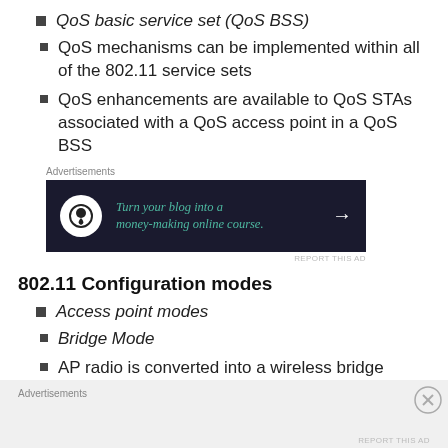QoS basic service set (QoS BSS)
QoS mechanisms can be implemented within all of the 802.11 service sets
QoS enhancements are available to QoS STAs associated with a QoS access point in a QoS BSS
[Figure (other): Advertisement banner: Turn your blog into a money-making online course.]
802.11 Configuration modes
Access point modes
Bridge Mode
AP radio is converted into a wireless bridge
[Figure (other): Advertisements placeholder bar at the bottom]